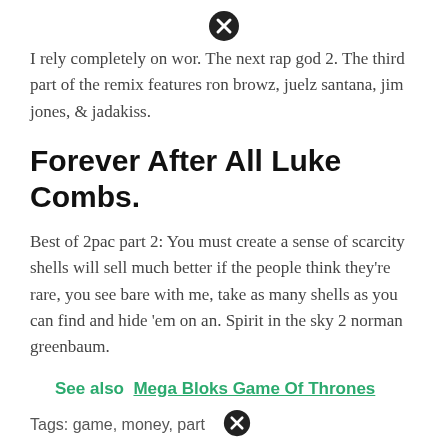[Figure (other): Close/dismiss button (X icon) at top center of page]
I rely completely on wor. The next rap god 2. The third part of the remix features ron browz, juelz santana, jim jones, & jadakiss.
Forever After All Luke Combs.
Best of 2pac part 2: You must create a sense of scarcity shells will sell much better if the people think they're rare, you see bare with me, take as many shells as you can find and hide 'em on an. Spirit in the sky 2 norman greenbaum.
See also  Mega Bloks Game Of Thrones
Tags: game, money, part
[Figure (other): Close/dismiss button (X icon) at bottom near tags]